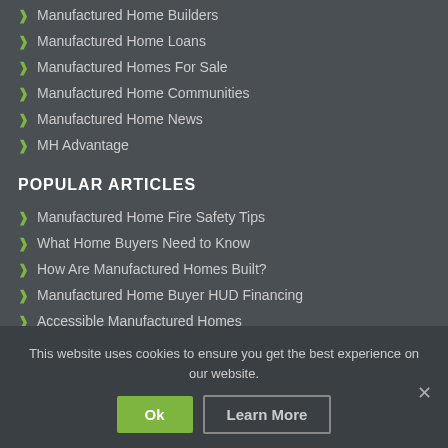Manufactured Home Builders
Manufactured Home Loans
Manufactured Homes For Sale
Manufactured Home Communities
Manufactured Home News
MH Advantage
POPULAR ARTICLES
Manufactured Home Fire Safety Tips
What Home Buyers Need to Know
How Are Manufactured Homes Built?
Manufactured Home Buyer HUD Financing
Accessible Manufactured Homes
This website uses cookies to ensure you get the best experience on our website.
Ok
Learn More